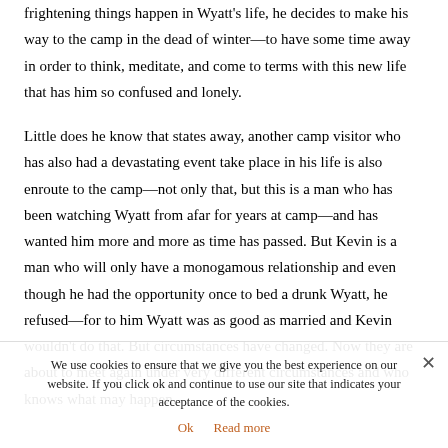frightening things happen in Wyatt's life, he decides to make his way to the camp in the dead of winter—to have some time away in order to think, meditate, and come to terms with this new life that has him so confused and lonely.
Little does he know that states away, another camp visitor who has also had a devastating event take place in his life is also enroute to the camp—not only that, but this is a man who has been watching Wyatt from afar for years at camp—and has wanted him more and more as time has passed. But Kevin is a man who will only have a monogamous relationship and even though he had the opportunity once to bed a drunk Wyatt, he refused—for to him Wyatt was as good as married and Kevin wouldn't do that. But circumstances have changed. Now they are about to meet again under very different circumstances and who knows what may happen.
We use cookies to ensure that we give you the best experience on our website. If you click ok and continue to use our site that indicates your acceptance of the cookies.